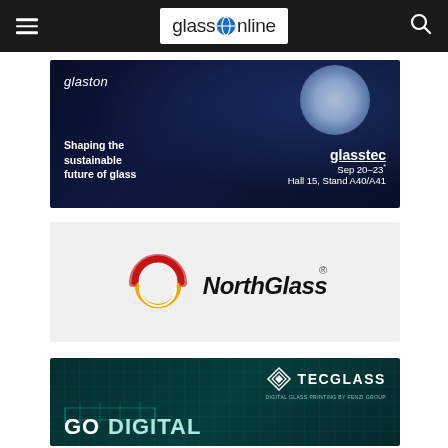glassOnline navigation bar with hamburger menu and search icon
[Figure (advertisement): Glaston banner ad: dark space background with person wearing VR headset reaching toward Earth globe. Text: glaston, Shaping the sustainable future of glass, glasstec Sep 20-23, Hall 15, Stand A40/A41]
[Figure (logo): NorthGlass logo on light grey background: red and orange circular swoosh with NorthGlass text in bold italic black and registered trademark symbol]
[Figure (advertisement): Tecglass banner ad: dark teal background with glass printing machine illustration. TECGLASS logo with diamond shape icon, subtitle DIGITAL GLASS PRINTING BY FENZI GROUP, text GO DIGITAL partially visible at bottom]